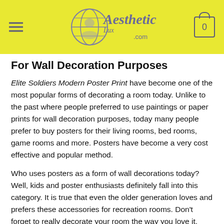Aesthetic Lux .com
For Wall Decoration Purposes
Elite Soldiers Modern Poster Print have become one of the most popular forms of decorating a room today. Unlike to the past where people preferred to use paintings or paper prints for wall decoration purposes, today many people prefer to buy posters for their living rooms, bed rooms, game rooms and more. Posters have become a very cost effective and popular method.
Who uses posters as a form of wall decorations today? Well, kids and poster enthusiasts definitely fall into this category. It is true that even the older generation loves and prefers these accessories for recreation rooms. Don’t forget to really decorate your room the way you love it. Huge wall posters are just one way to beautify a room and